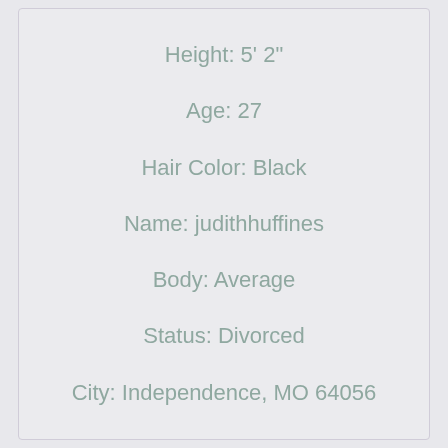Height: 5' 2"
Age: 27
Hair Color: Black
Name: judithhuffines
Body: Average
Status: Divorced
City: Independence, MO 64056